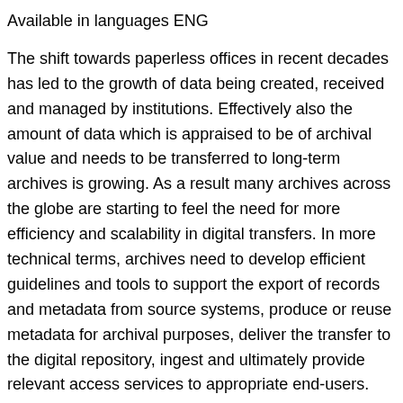Available in languages ENG
The shift towards paperless offices in recent decades has led to the growth of data being created, received and managed by institutions. Effectively also the amount of data which is appraised to be of archival value and needs to be transferred to long-term archives is growing. As a result many archives across the globe are starting to feel the need for more efficiency and scalability in digital transfers. In more technical terms, archives need to develop efficient guidelines and tools to support the export of records and metadata from source systems, produce or reuse metadata for archival purposes, deliver the transfer to the digital repository, ingest and ultimately provide relevant access services to appropriate end-users. Developing these guidelines and tools is a huge effort for any individual archive and far too often necessary resources and qualified staff are not available to meet the need. These problems have since 2014 been addressed within